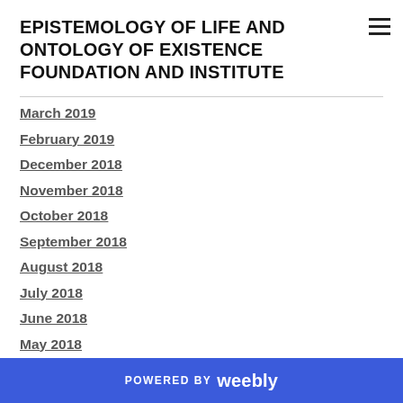EPISTEMOLOGY OF LIFE AND ONTOLOGY OF EXISTENCE FOUNDATION AND INSTITUTE
March 2019
February 2019
December 2018
November 2018
October 2018
September 2018
August 2018
July 2018
June 2018
May 2018
April 2018
March 2018
February 2018
POWERED BY weebly